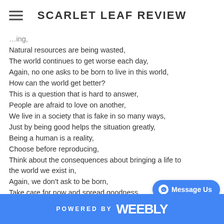SCARLET LEAF REVIEW
Natural resources are being wasted,
The world continues to get worse each day,
Again, no one asks to be born to live in this world,
How can the world get better?
This is a question that is hard to answer,
People are afraid to love on another,
We live in a society that is fake in so many ways,
Just by being good helps the situation greatly,
Being a human is a reality,
Choose before reproducing,
Think about the consequences about bringing a life to the world we exist in,
Again, we don't ask to be born,
Take care for now and spread goodness,
This is all you can do and all anyone can really ask for us,
Carpe diem.
POWERED BY weebly